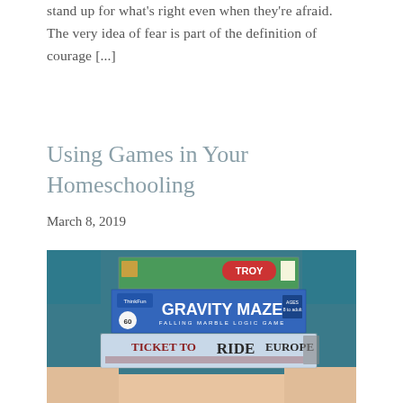stand up for what's right even when they're afraid. The very idea of fear is part of the definition of courage [...]
Using Games in Your Homeschooling
March 8, 2019
[Figure (photo): A person holding a stack of board games including Troy, Gravity Maze (Falling Marble Logic Game), and Ticket to Ride Europe.]